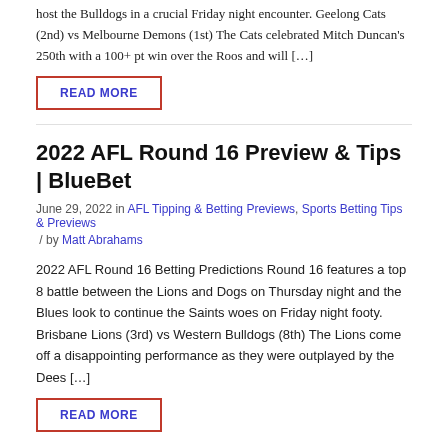host the Bulldogs in a crucial Friday night encounter. Geelong Cats (2nd) vs Melbourne Demons (1st) The Cats celebrated Mitch Duncan's 250th with a 100+ pt win over the Roos and will […]
READ MORE
2022 AFL Round 16 Preview & Tips | BlueBet
June 29, 2022 in AFL Tipping & Betting Previews, Sports Betting Tips & Previews / by Matt Abrahams
2022 AFL Round 16 Betting Predictions Round 16 features a top 8 battle between the Lions and Dogs on Thursday night and the Blues look to continue the Saints woes on Friday night footy. Brisbane Lions (3rd) vs Western Bulldogs (8th) The Lions come off a disappointing performance as they were outplayed by the Dees […]
READ MORE